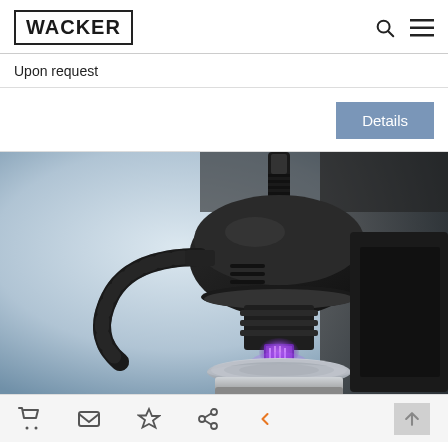WACKER
Upon request
Details
[Figure (photo): Close-up photograph of a laboratory or industrial instrument with a black dome-shaped housing, flexible corrugated hose, and a purple-glowing UV light component at the bottom, mounted on a metallic base.]